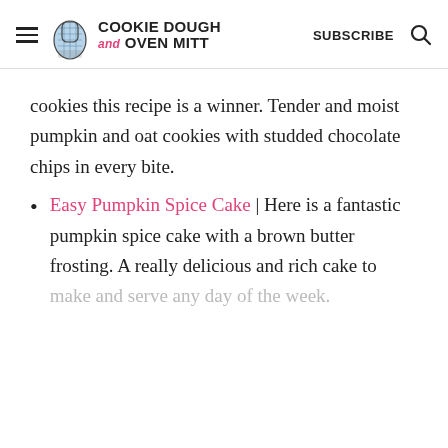COOKIE DOUGH and OVEN MITT | SUBSCRIBE
cookies this recipe is a winner. Tender and moist pumpkin and oat cookies with studded chocolate chips in every bite.
Easy Pumpkin Spice Cake | Here is a fantastic pumpkin spice cake with a brown butter frosting. A really delicious and rich cake to make and serve any day of the week.